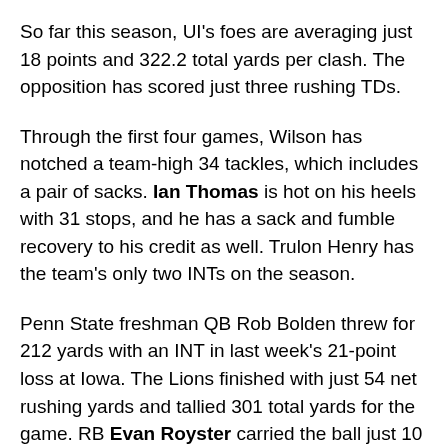So far this season, UI's foes are averaging just 18 points and 322.2 total yards per clash. The opposition has scored just three rushing TDs.
Through the first four games, Wilson has notched a team-high 34 tackles, which includes a pair of sacks. Ian Thomas is hot on his heels with 31 stops, and he has a sack and fumble recovery to his credit as well. Trulon Henry has the team's only two INTs on the season.
Penn State freshman QB Rob Bolden threw for 212 yards with an INT in last week's 21-point loss at Iowa. The Lions finished with just 54 net rushing yards and tallied 301 total yards for the game. RB Evan Royster carried the ball just 10 times, finishing with 56 yards, while Devon Smith was the Lions' leading pass